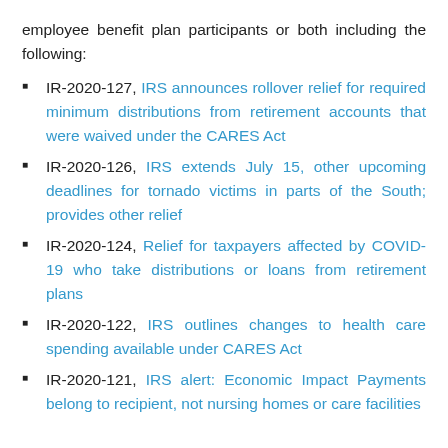employee benefit plan participants or both including the following:
IR-2020-127, IRS announces rollover relief for required minimum distributions from retirement accounts that were waived under the CARES Act
IR-2020-126, IRS extends July 15, other upcoming deadlines for tornado victims in parts of the South; provides other relief
IR-2020-124, Relief for taxpayers affected by COVID-19 who take distributions or loans from retirement plans
IR-2020-122, IRS outlines changes to health care spending available under CARES Act
IR-2020-121, IRS alert: Economic Impact Payments belong to recipient, not nursing homes or care facilities